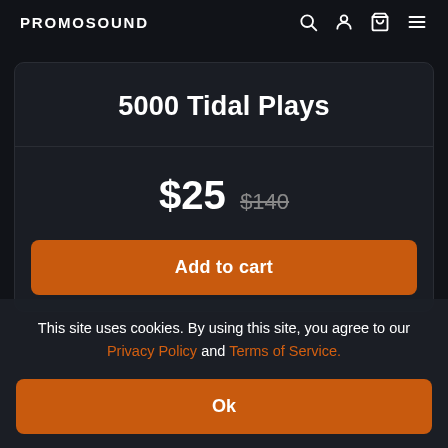PROMOSOUND
5000 Tidal Plays
$25  $140
Add to cart
This site uses cookies. By using this site, you agree to our Privacy Policy and Terms of Service.
Ok